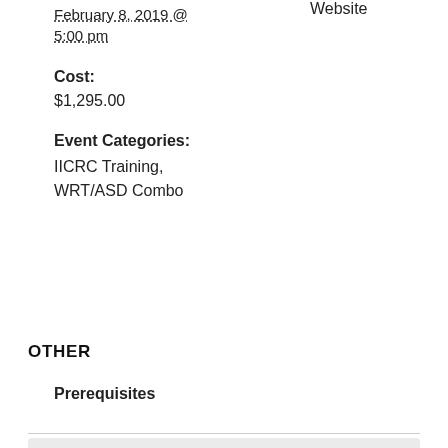February 8, 2019 @ 5:00 pm
Website
Cost:
$1,295.00
Event Categories:
IICRC Training,
WRT/ASD Combo
OTHER
Prerequisites
Oops! Something went